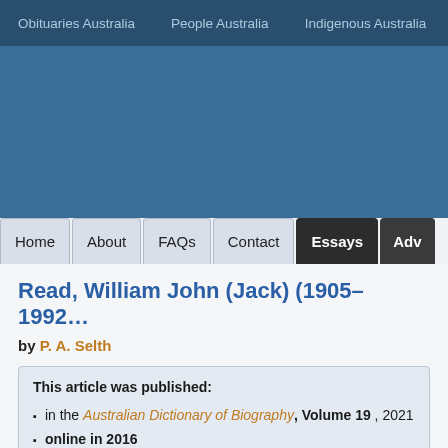Obituaries Australia   People Australia   Indigenous Australia   Wo…
[Figure (screenshot): Blue header banner area of website]
Home   About   FAQs   Contact   Essays   Adv…
Read, William John (Jack) (1905–1992…
by P. A. Selth
This article was published:
• in the Australian Dictionary of Biography, Volume 19, 2021
• online in 2016